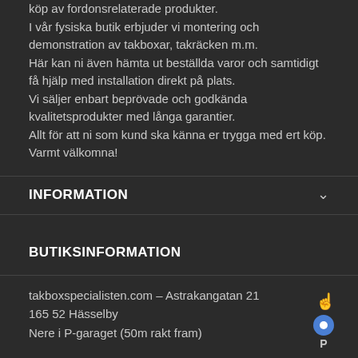köp av fordonsrelaterade produkter.
I vår fysiska butik erbjuder vi montering och demonstration av takboxar, takräcken m.m.
Här kan ni även hämta ut beställda varor och samtidigt få hjälp med installation direkt på plats.
Vi säljer enbart beprövade och godkända kvalitetsprodukter med långa garantier.
Allt för att ni som kund ska känna er trygga med ert köp.
Varmt välkomna!
INFORMATION
BUTIKSINFORMATION
takboxspecialisten.com – Astrakangatan 21
165 52 Hässelby
Nere i P-garaget (50m rakt fram)